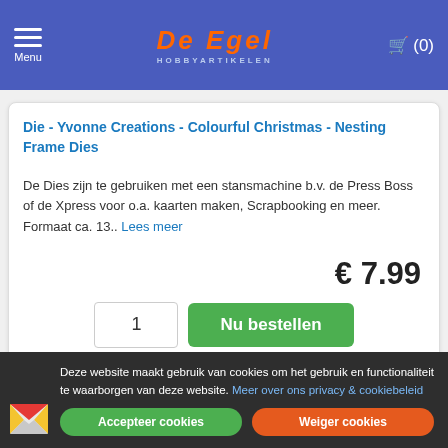Menu | De Egel Hobbyartikelen | (0)
Die - Yvonne Creations - Colourful Christmas - Nesting Frame Dies
De Dies zijn te gebruiken met een stansmachine b.v. de Press Boss of de Xpress voor o.a. kaarten maken, Scrapbooking en meer. Formaat ca. 13.. Lees meer
€ 7.99
1  Nu bestellen
[Figure (photo): Partial product card image at bottom - Christmas themed product image]
Deze website maakt gebruik van cookies om het gebruik en functionaliteit te waarborgen van deze website. Meer over ons privacy & cookiebeleid
Accepteer cookies  Weiger cookies